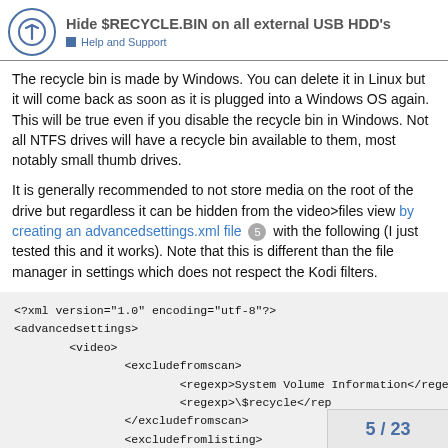Hide $RECYCLE.BIN on all external USB HDD's — Help and Support
The recycle bin is made by Windows. You can delete it in Linux but it will come back as soon as it is plugged into a Windows OS again. This will be true even if you disable the recycle bin in Windows. Not all NTFS drives will have a recycle bin available to them, most notably small thumb drives.
It is generally recommended to not store media on the root of the drive but regardless it can be hidden from the video>files view by creating an advancedsettings.xml file 5 with the following (I just tested this and it works). Note that this is different than the file manager in settings which does not respect the Kodi filters.
<?xml version="1.0" encoding="utf-8"?>
<advancedsettings>
        <video>
                <excludefromscan>
                        <regexp>System Volume Information</rege
                        <regexp>\$recycle</rep
                </excludefromscan>
                <excludefromlisting>
5 / 23